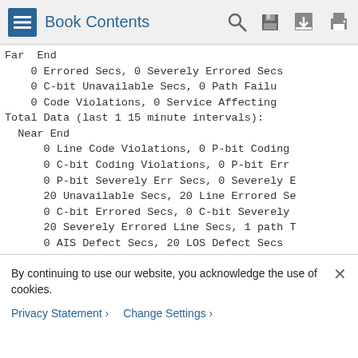Book Contents
Far End
    0 Errored Secs, 0 Severely Errored Secs,
    0 C-bit Unavailable Secs, 0 Path Failure
    0 Code Violations, 0 Service Affecting
Total Data (last 1 15 minute intervals):
 Near End
    0 Line Code Violations, 0 P-bit Coding
    0 C-bit Coding Violations, 0 P-bit Err
    0 P-bit Severely Err Secs, 0 Severely E
    20 Unavailable Secs, 20 Line Errored Se
    0 C-bit Errored Secs, 0 C-bit Severely
    20 Severely Errored Line Secs, 1 path T
    0 AIS Defect Secs, 20 LOS Defect Secs
 Far End
    0 Errored Secs, 0 Severely Errored Secs
By continuing to use our website, you acknowledge the use of cookies.
Privacy Statement > Change Settings >